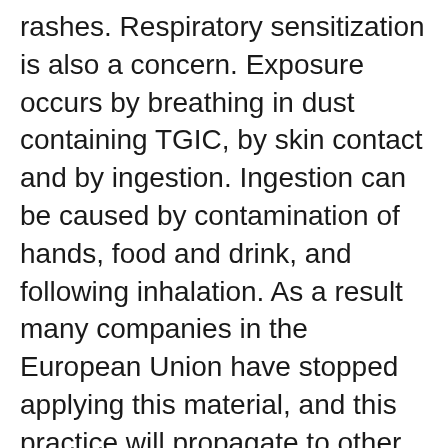rashes. Respiratory sensitization is also a concern. Exposure occurs by breathing in dust containing TGIC, by skin contact and by ingestion. Ingestion can be caused by contamination of hands, food and drink, and following inhalation. As a result many companies in the European Union have stopped applying this material, and this practice will propagate to other regions as well.
All swatches are only indicative in color and may vary from the actual samples. Click here to download a PDF of the swatches below.